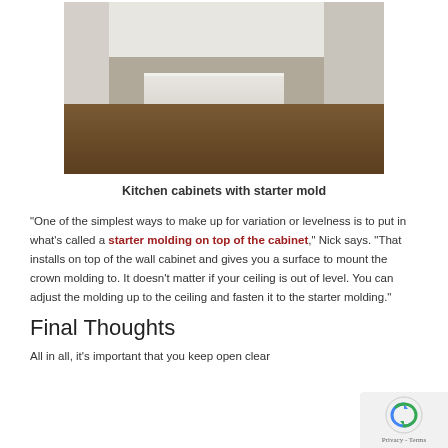[Figure (photo): Kitchen with white cabinets, a gray island with marble countertop, bar stools, stainless steel appliances, and hardwood floors]
Kitchen cabinets with starter mold
“One of the simplest ways to make up for variation or levelness is to put in what’s called a starter molding on top of the cabinet,” Nick says. “That installs on top of the wall cabinet and gives you a surface to mount the crown molding to. It doesn’t matter if your ceiling is out of level. You can adjust the molding up to the ceiling and fasten it to the starter molding.”
Final Thoughts
All in all, it’s important that you keep open clear